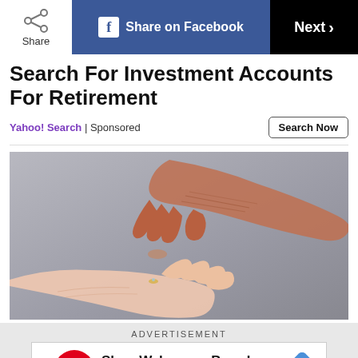Share | Share on Facebook | Next >
Search For Investment Accounts For Retirement
Yahoo! Search | Sponsored
[Figure (photo): Two hands reaching toward each other — an elderly wrinkled hand extending fingers downward and a younger hand with palm up, against a grey background.]
ADVERTISEMENT
[Figure (infographic): Walgreens advertisement banner: Shop Walgreens Brand Health & Wellness Today, with Walgreens W logo on left and blue diamond arrow on right.]